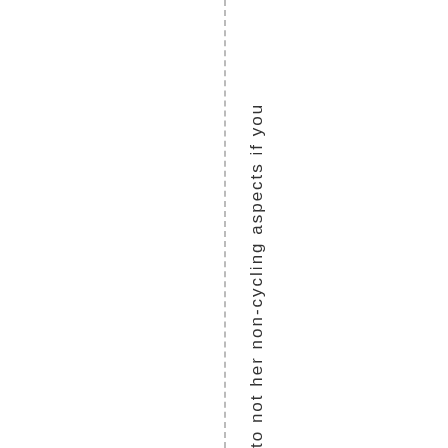to not her non-cycling as pect s if yo u